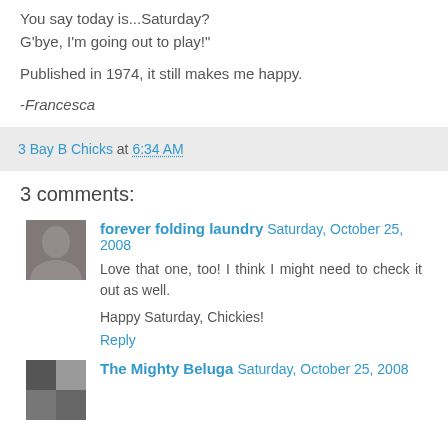You say today is...Saturday?
G'bye, I'm going out to play!"
Published in 1974, it still makes me happy.
-Francesca
3 Bay B Chicks at 6:34 AM
3 comments:
forever folding laundry Saturday, October 25, 2008
Love that one, too! I think I might need to check it out as well.
Happy Saturday, Chickies!
Reply
The Mighty Beluga Saturday, October 25, 2008